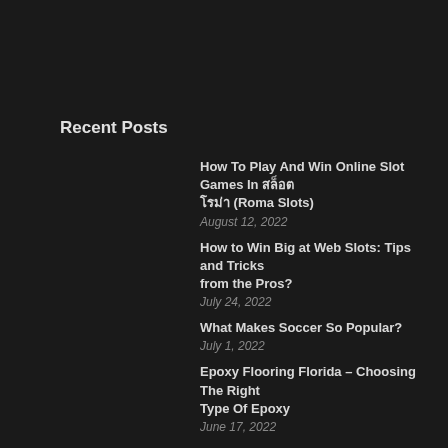Recent Posts
How To Play And Win Online Slot Games In สล็อตโรม่า (Roma Slots)
August 12, 2022
How to Win Big at Web Slots: Tips and Tricks from the Pros?
July 24, 2022
What Makes Soccer So Popular?
July 1, 2022
Epoxy Flooring Florida – Choosing The Right Type Of Epoxy
June 17, 2022